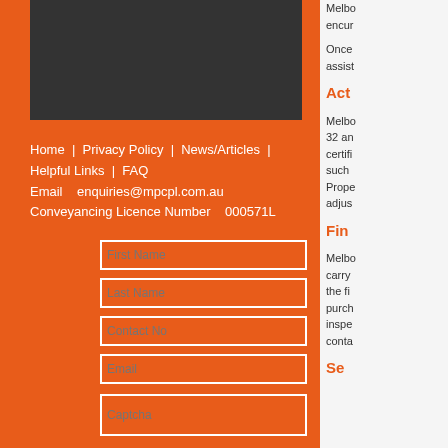[Figure (other): Dark gray box / image placeholder in the top-left area]
Home | Privacy Policy | News/Articles | Helpful Links | FAQ
Email   enquiries@mpcpl.com.au
Conveyancing Licence Number   000571L
First Name
Last Name
Contact No
Email
Captcha
Melbo encur
Once assist
Act
Melbo 32 an certifi such Prope adjus
Fin
Melbo carry the fi purch inspe conta
Se